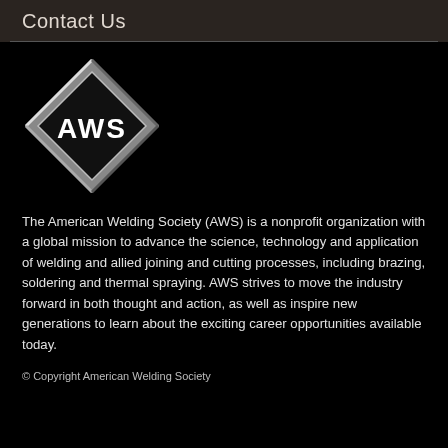Contact Us
[Figure (logo): AWS (American Welding Society) diamond-shaped logo with silver/grey diamond outline on black background and 'AWS' text in white bold letters in the center]
The American Welding Society (AWS) is a nonprofit organization with a global mission to advance the science, technology and application of welding and allied joining and cutting processes, including brazing, soldering and thermal spraying. AWS strives to move the industry forward in both thought and action, as well as inspire new generations to learn about the exciting career opportunities available today.
© Copyright American Welding Society